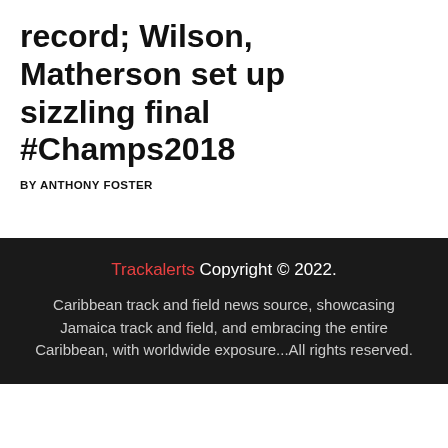record; Wilson, Matherson set up sizzling final #Champs2018
BY ANTHONY FOSTER
Trackalerts Copyright © 2022. Caribbean track and field news source, showcasing Jamaica track and field, and embracing the entire Caribbean, with worldwide exposure...All rights reserved.